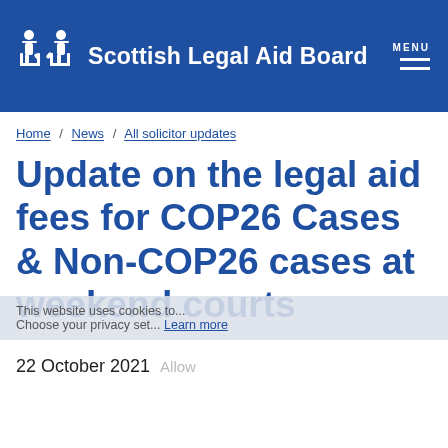Scottish Legal Aid Board
Home / News / All solicitor updates
Update on the legal aid fees for COP26 Cases & Non-COP26 cases at weekend courts
22 October 2021